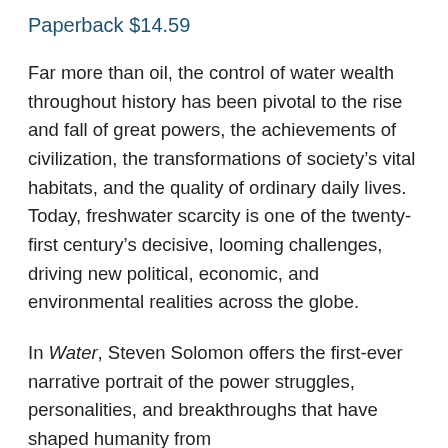Paperback $14.59
Far more than oil, the control of water wealth throughout history has been pivotal to the rise and fall of great powers, the achievements of civilization, the transformations of society’s vital habitats, and the quality of ordinary daily lives. Today, freshwater scarcity is one of the twenty-first century’s decisive, looming challenges, driving new political, economic, and environmental realities across the globe.
In Water, Steven Solomon offers the first-ever narrative portrait of the power struggles, personalities, and breakthroughs that have shaped humanity from